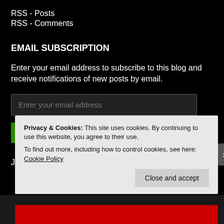RSS - Posts
RSS - Comments
EMAIL SUBSCRIPTION
Enter your email address to subscribe to this blog and receive notifications of new posts by email.
Enter your email address
SIGN ME UP!
Join 73 other followers
Privacy & Cookies: This site uses cookies. By continuing to use this website, you agree to their use.
To find out more, including how to control cookies, see here: Cookie Policy
Close and accept